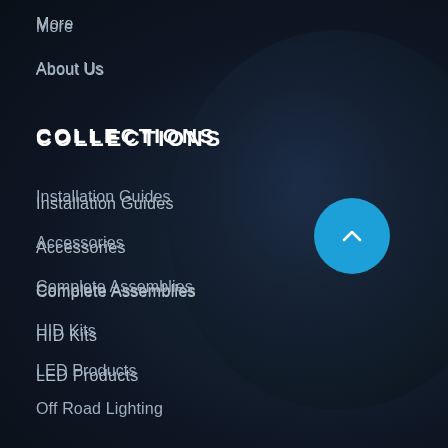More
About Us
COLLECTIONS
Installation Guides
Accessories
Complete Assemblies
HID Kits
LED Products
Off Road Lighting
Shrouds
Wiring Harnesses
[Figure (illustration): Blue circular scroll-to-top button with upward chevron icon]